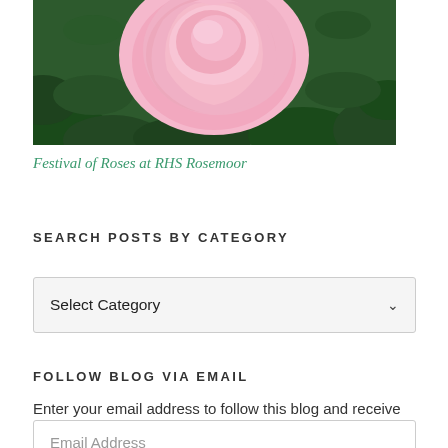[Figure (photo): Close-up photograph of a large pink rose in bloom against green foliage background]
Festival of Roses at RHS Rosemoor
SEARCH POSTS BY CATEGORY
Select Category
FOLLOW BLOG VIA EMAIL
Enter your email address to follow this blog and receive notifications of new posts by email.
Email Address